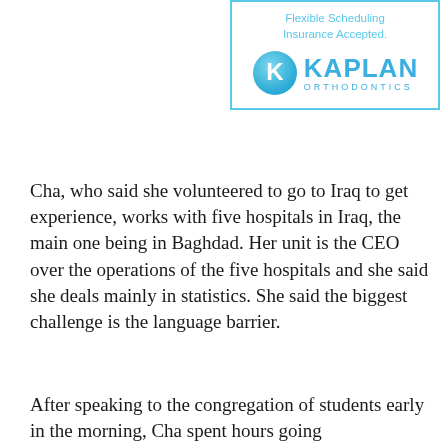[Figure (logo): Kaplan Orthodontics logo inside a light blue border box, with text 'Flexible Scheduling Insurance Accepted.' above it in blue]
Cha, who said she volunteered to go to Iraq to get experience, works with five hospitals in Iraq, the main one being in Baghdad. Her unit is the CEO over the operations of the five hospitals and she said she deals mainly in statistics. She said the biggest challenge is the language barrier.
After speaking to the congregation of students early in the morning, Cha spent hours going